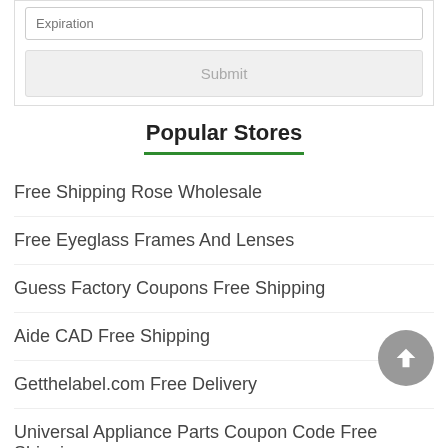Expiration
Submit
Popular Stores
Free Shipping Rose Wholesale
Free Eyeglass Frames And Lenses
Guess Factory Coupons Free Shipping
Aide CAD Free Shipping
Getthelabel.com Free Delivery
Universal Appliance Parts Coupon Code Free Shipping